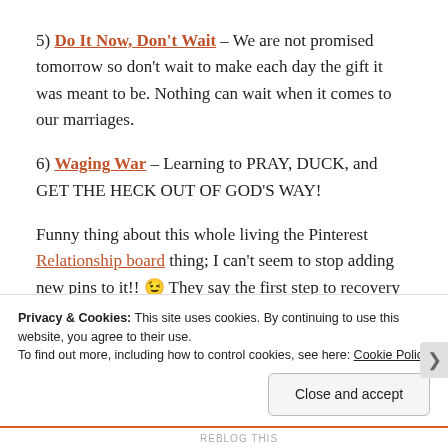5) Do It Now, Don't Wait – We are not promised tomorrow so don't wait to make each day the gift it was meant to be. Nothing can wait when it comes to our marriages.
6) Waging War – Learning to PRAY, DUCK, and GET THE HECK OUT OF GOD'S WAY!
Funny thing about this whole living the Pinterest Relationship board thing; I can't seem to stop adding new pins to it!! 😉 They say the first step to recovery is to admit you have a problem… Hi, my name's Robyn and I'm a
Privacy & Cookies: This site uses cookies. By continuing to use this website, you agree to their use. To find out more, including how to control cookies, see here: Cookie Policy